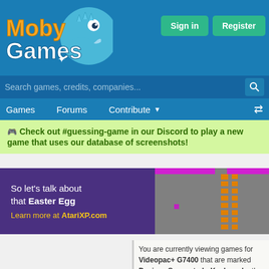MobyGames
[Figure (logo): MobyGames logo with orange 'Moby' text, white 'Games' text, and blue cartoon fish/chameleon mascot on blue background]
Search games, credits, companies...
Games  Forums  Contribute  [shuffle icon]
Sign in  Register
🎮 Check out #guessing-game in our Discord to play a new game that uses our database of screenshots!
[Figure (screenshot): Advertisement banner: purple background with text 'So let’s talk about that Easter Egg' and 'Learn more at AtariXP.com' in yellow, alongside a retro game screenshot with gray, orange and magenta pixel graphics]
You are currently viewing games for Videopac+ G7400 that are marked Devices Supported : Keyboard. other platforms are also tracked by attribute. You can restrict the list of below to any of the following platfo